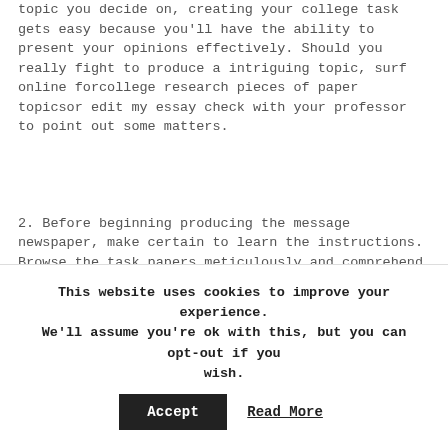topic you decide on, creating your college task gets easy because you'll have the ability to present your opinions effectively. Should you really fight to produce a intriguing topic, surf online forcollege research pieces of paper topicsor edit my essay check with your professor to point out some matters.
2. Before beginning producing the message newspaper, make certain to learn the instructions. Browse the task papers meticulously and comprehend exactly what the professor is searching for.
3. Generate an overview writing editor for your...
This website uses cookies to improve your experience. We'll assume you're ok with this, but you can opt-out if you wish. Accept Read More